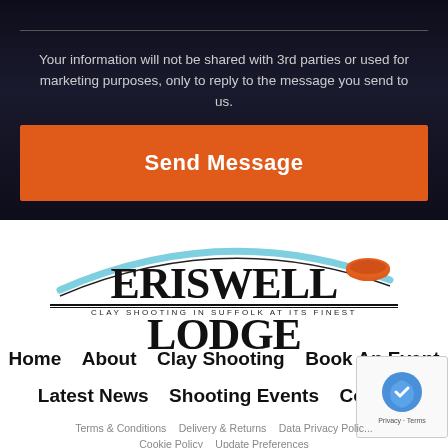Your information will not be shared with 3rd parties or used for marketing purposes, only to reply to the message you send to us.
[Figure (screenshot): Orange 'Send Message' button]
[Figure (logo): Eriswell Lodge logo with arc graphic and clay shooting disc. Text reads: ERISWELL LODGE, CLAY SHOOTING IN SUFFOLK AT ITS FINEST]
Home   About   Clay Shooting   Book An Event   Latest News   Shooting Events   Contact
Terms & Conditions   Delivery & Returns   Data Privacy Policy   Cookie Policy   Update Preferences